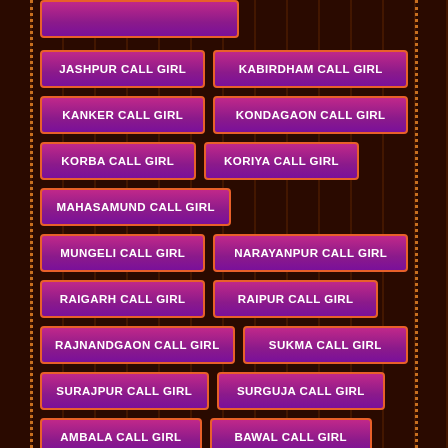JASHPUR CALL GIRL
KABIRDHAM CALL GIRL
KANKER CALL GIRL
KONDAGAON CALL GIRL
KORBA CALL GIRL
KORIYA CALL GIRL
MAHASAMUND CALL GIRL
MUNGELI CALL GIRL
NARAYANPUR CALL GIRL
RAIGARH CALL GIRL
RAIPUR CALL GIRL
RAJNANDGAON CALL GIRL
SUKMA CALL GIRL
SURAJPUR CALL GIRL
SURGUJA CALL GIRL
AMBALA CALL GIRL
BAWAL CALL GIRL